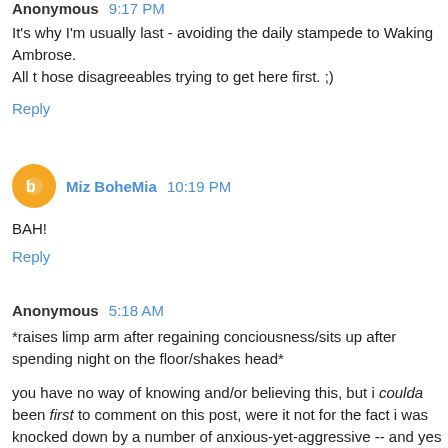Anonymous 9:17 PM
It's why I'm usually last - avoiding the daily stampede to Waking Ambrose.
All t hose disagreeables trying to get here first. ;)
Reply
Miz BoheMia 10:19 PM
BAH!
Reply
Anonymous 5:18 AM
*raises limp arm after regaining conciousness/sits up after spending night on the floor/shakes head*
you have no way of knowing and/or believing this, but i coulda been first to comment on this post, were it not for the fact i was knocked down by a number of anxious-yet-aggressive -- and yes i lovelovelove 'em all, but jeez, Louise, watch where you're going! -- bloggers!